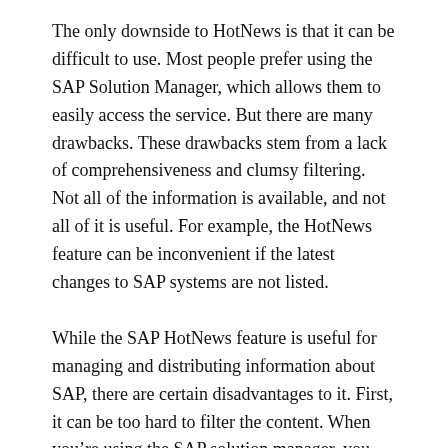The only downside to HotNews is that it can be difficult to use. Most people prefer using the SAP Solution Manager, which allows them to easily access the service. But there are many drawbacks. These drawbacks stem from a lack of comprehensiveness and clumsy filtering. Not all of the information is available, and not all of it is useful. For example, the HotNews feature can be inconvenient if the latest changes to SAP systems are not listed.
While the SAP HotNews feature is useful for managing and distributing information about SAP, there are certain disadvantages to it. First, it can be too hard to filter the content. When you’re using the SAP solution manager, you can customize the HotNews. It’s important to have a solution manager on staff to use it. The only downside is the clumsy filtering. For this reason, it’s better to implement it